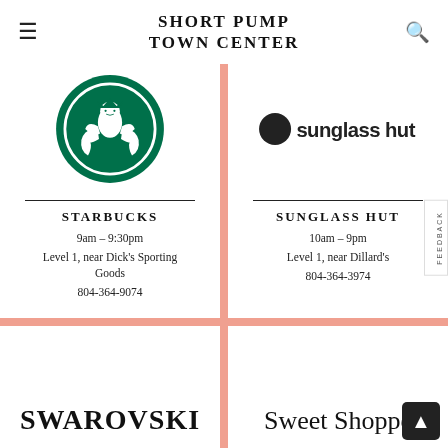SHORT PUMP TOWN CENTER
[Figure (logo): Starbucks green mermaid logo]
STARBUCKS
9am – 9:30pm
Level 1, near Dick's Sporting Goods
804-364-9074
[Figure (logo): Sunglass Hut logo with black circle]
SUNGLASS HUT
10am – 9pm
Level 1, near Dillard's
804-364-3974
[Figure (logo): Swarovski logo text]
[Figure (logo): Sweet Shoppe logo text]